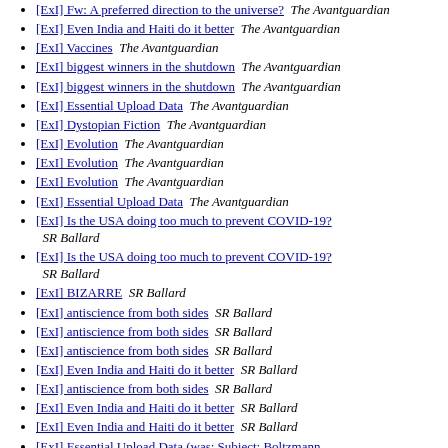[ExI] Fw: A preferred direction to the universe?  The Avantguardian
[ExI] Even India and Haiti do it better  The Avantguardian
[ExI] Vaccines  The Avantguardian
[ExI] biggest winners in the shutdown  The Avantguardian
[ExI] biggest winners in the shutdown  The Avantguardian
[ExI] Essential Upload Data  The Avantguardian
[ExI] Dystopian Fiction  The Avantguardian
[ExI] Evolution  The Avantguardian
[ExI] Evolution  The Avantguardian
[ExI] Evolution  The Avantguardian
[ExI] Essential Upload Data  The Avantguardian
[ExI] Is the USA doing too much to prevent COVID-19?  SR Ballard
[ExI] Is the USA doing too much to prevent COVID-19?  SR Ballard
[ExI] BIZARRE  SR Ballard
[ExI] antiscience from both sides  SR Ballard
[ExI] antiscience from both sides  SR Ballard
[ExI] antiscience from both sides  SR Ballard
[ExI] Even India and Haiti do it better  SR Ballard
[ExI] antiscience from both sides  SR Ballard
[ExI] Even India and Haiti do it better  SR Ballard
[ExI] Even India and Haiti do it better  SR Ballard
[ExI] Essential Upload Data (was: Subject: Boltzmann brain...)  SR Ballard